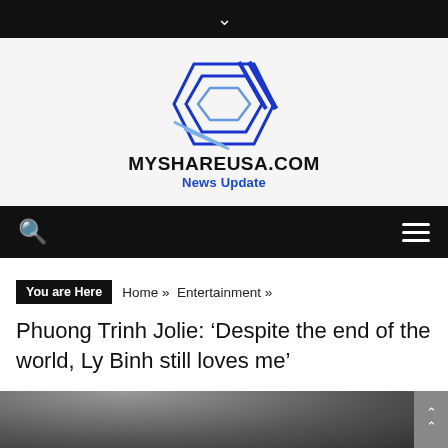▼
[Figure (logo): MYSHAREUSA.COM logo — overlapping blue diamond/square shapes with site name MYSHAREUSA.COM and tagline News Update]
🔍  ≡
You are Here  Home »  Entertainment »
Phuong Trinh Jolie: 'Despite the end of the world, Ly Binh still loves me'
[Figure (photo): Partial photo of people, cropped at bottom of page]